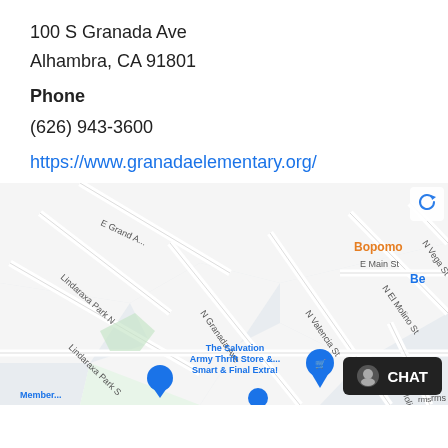100 S Granada Ave
Alhambra, CA 91801
Phone
(626) 943-3600
https://www.granadaelementary.org/
[Figure (map): Google Maps screenshot showing the area around 100 S Granada Ave, Alhambra, CA. Streets visible include E Grand Ave, Lindaraxa Park N, Lindaraxa Park S, N Granada Ave, N Valencia St, N El Molino St, N Vega St, E Main St. Points of interest: The Salvation Army Thrift Store & ..., Smart & Final Extra!, Member... A chat button overlay is visible in the bottom right corner. Text 'Bopomo' and 'Be' appear in orange on the right side.]